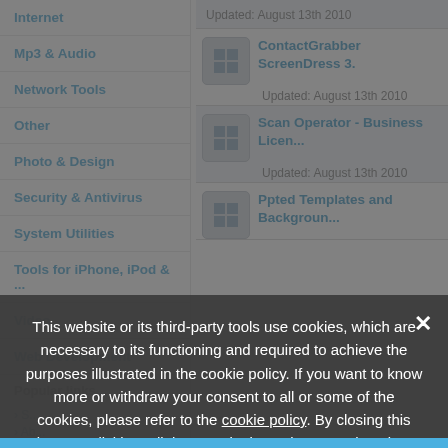Internet
Mp3 & Audio
Network Tools
Other
Photo & Design
Security & Antivirus
System Utilities
Tools for iPhone, iPod & ...
Video
Web Development
ContactGrabber ScreenDress 3.
Updated: August 13th 2010
Scan Operator - Business Licen...
Updated: August 13th 2010
Ppted Templates and Backgroun...
Popular links
This website or its third-party tools use cookies, which are necessary to its functioning and required to achieve the purposes illustrated in the cookie policy. If you want to know more or withdraw your consent to all or some of the cookies, please refer to the cookie policy. By closing this banner, clicking a link or continuing to browse otherwise, you agree to the use of cookies.